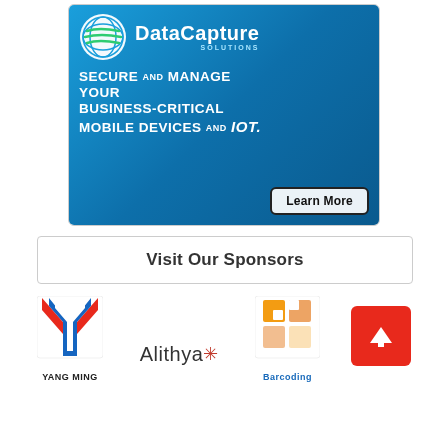[Figure (infographic): DataCapture Solutions advertisement banner. Blue gradient background with globe logo, bold white text: SECURE AND MANAGE YOUR BUSINESS-CRITICAL MOBILE DEVICES AND IoT. Learn More button.]
Visit Our Sponsors
[Figure (logo): Yang Ming shipping company logo - red/blue Y-shaped mark with YANG MING text below]
[Figure (logo): Alithya logo with colorful asterisk star]
[Figure (logo): Barcoding Inc logo - orange puzzle-piece squares forming barcode shape with Barcoding text below]
[Figure (other): Red scroll-to-top button with white upward arrow]